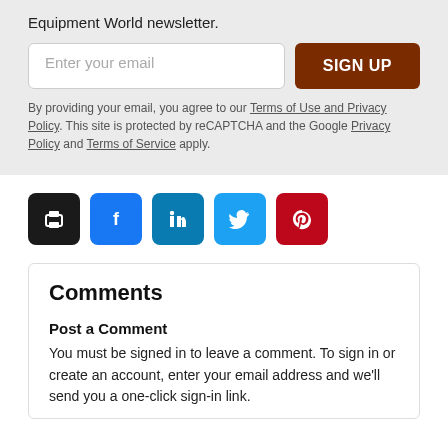Equipment World newsletter.
Enter your email
SIGN UP
By providing your email, you agree to our Terms of Use and Privacy Policy. This site is protected by reCAPTCHA and the Google Privacy Policy and Terms of Service apply.
[Figure (infographic): Social sharing icons row: print (black), Facebook (blue), LinkedIn (dark teal), Twitter (light blue), Pinterest (red)]
Comments
Post a Comment
You must be signed in to leave a comment. To sign in or create an account, enter your email address and we'll send you a one-click sign-in link.